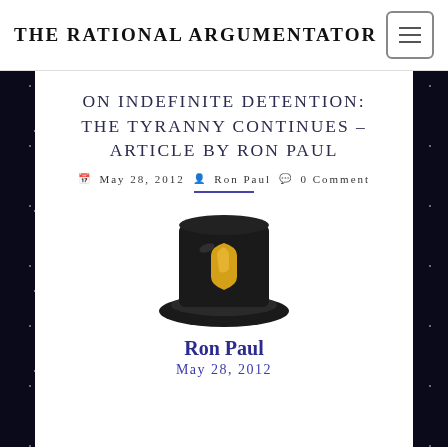THE RATIONAL ARGUMENTATOR
ON INDEFINITE DETENTION: THE TYRANNY CONTINUES – ARTICLE BY RON PAUL
May 28, 2012  Ron Paul  0 Comment
[Figure (illustration): A black top hat with a yellow shield/crest emblem on it, rendered as a stylized icon or logo image.]
Ron Paul
May 28, 2012